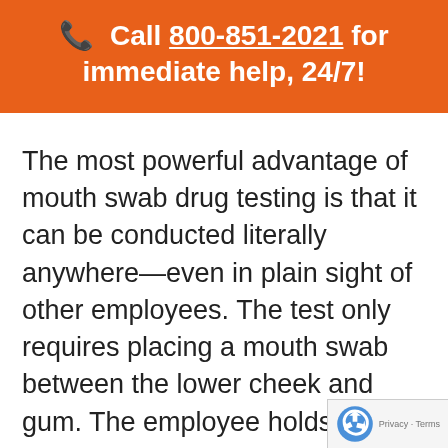📞 Call 800-851-2021 for immediate help, 24/7!
The most powerful advantage of mouth swab drug testing is that it can be conducted literally anywhere—even in plain sight of other employees. The test only requires placing a mouth swab between the lower cheek and gum. The employee holds it in place until it becomes saturated. The whole